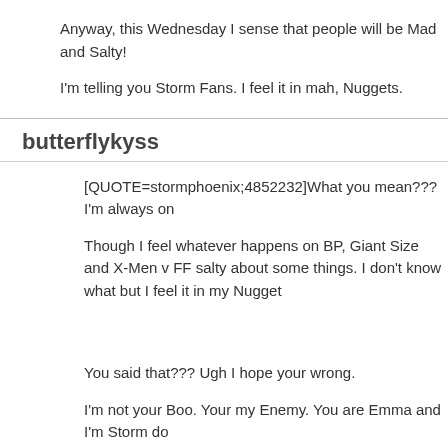Anyway, this Wednesday I sense that people will be Mad and Salty!
I'm telling you Storm Fans. I feel it in mah, Nuggets.
butterflykyss
[QUOTE=stormphoenix;4852232]What you mean??? I'm always on
Though I feel whatever happens on BP, Giant Size and X-Men v FF salty about some things. I don't know what but I feel it in my Nugget
You said that??? Ugh I hope your wrong.
I'm not your Boo. Your my Enemy. You are Emma and I'm Storm do [ATTACH=CONFIG]93609[/ATTACH][/QUOTE]
I would never be that plastic fake t!tty bish; that's you honeybee.
and yes I sure did go back a few pages.